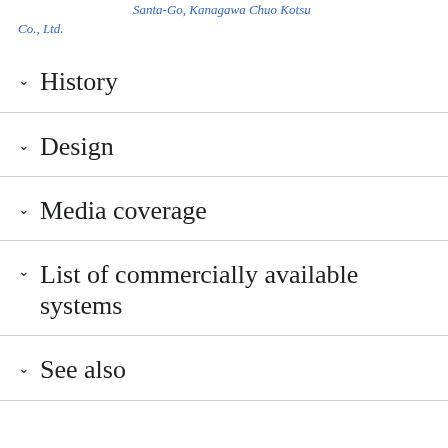Santa-Go, Kanagawa Chuo Kotsu Co., Ltd.
History
Design
Media coverage
List of commercially available systems
See also